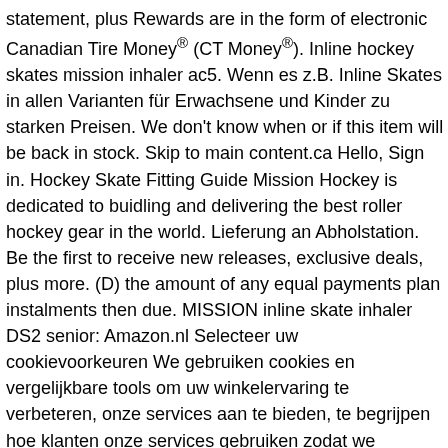statement, plus Rewards are in the form of electronic Canadian Tire Money® (CT Money®). Inline hockey skates mission inhaler ac5. Wenn es z.B. Inline Skates in allen Varianten für Erwachsene und Kinder zu starken Preisen. We don't know when or if this item will be back in stock. Skip to main content.ca Hello, Sign in. Hockey Skate Fitting Guide Mission Hockey is dedicated to buidling and delivering the best roller hockey gear in the world. Lieferung an Abholstation. Be the first to receive new releases, exclusive deals, plus more. (D) the amount of any equal payments plan instalments then due. MISSION inline skate inhaler DS2 senior: Amazon.nl Selecteer uw cookievoorkeuren We gebruiken cookies en vergelijkbare tools om uw winkelervaring te verbeteren, onze services aan te bieden, te begrijpen hoe klanten onze services gebruiken zodat we verbeteringen kunnen aanbrengen, en om advertenties weer te geven. Sind Sie auf der Suche nach hochwertigen Kugellagern und Spacern? Erhalten Sie exklusive News und Angebote mit dem E-Mail-Newsletter von Bauer. Shipping: Calculate Varies based on location and shipping …